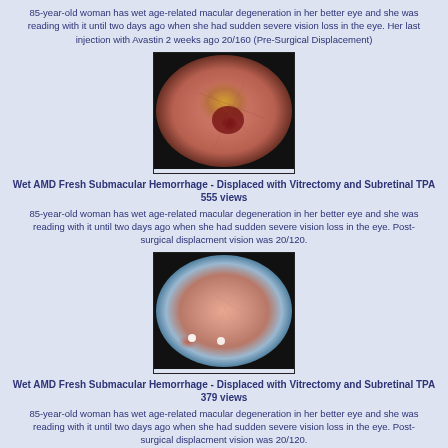85-year-old woman has wet age-related macular degeneration in her better eye and she was reading with it until two days ago when she had sudden severe vision loss in the eye. Her last injection with Avastin 2 weeks ago 20/160 (Pre-Surgical Displacement)
[Figure (photo): Fundus photograph showing wet AMD with fresh submacular hemorrhage, pre-surgical displacement view. Dark red hemorrhage visible in center of retina.]
Wet AMD Fresh Submacular Hemorrhage - Displaced with Vitrectomy and Subretinal TPA
555 views
85-year-old woman has wet age-related macular degeneration in her better eye and she was reading with it until two days ago when she had sudden severe vision loss in the eye. Post-surgical displacment vision was 20/120.
[Figure (photo): Fundus photograph showing wet AMD with fresh submacular hemorrhage after displacement with vitrectomy and subretinal TPA. Post-surgical appearance with lighter retina and two bright white spots visible.]
Wet AMD Fresh Submacular Hemorrhage - Displaced with Vitrectomy and Subretinal TPA
379 views
85-year-old woman has wet age-related macular degeneration in her better eye and she was reading with it until two days ago when she had sudden severe vision loss in the eye. Post-surgical displacment vision was 20/120.
[Figure (photo): Grayscale medical imaging scan (likely OCT or fluorescein angiography) of the eye, partially visible at bottom of page.]